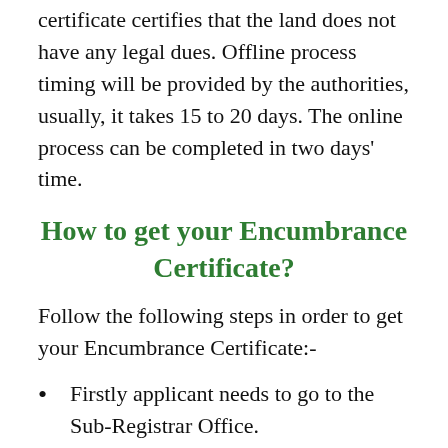certificate certifies that the land does not have any legal dues. Offline process timing will be provided by the authorities, usually, it takes 15 to 20 days. The online process can be completed in two days' time.
How to get your Encumbrance Certificate?
Follow the following steps in order to get your Encumbrance Certificate:-
Firstly applicant needs to go to the Sub-Registrar Office.
The applicant shall collect the appropriate application form for EC at the respective office and state the form with details and